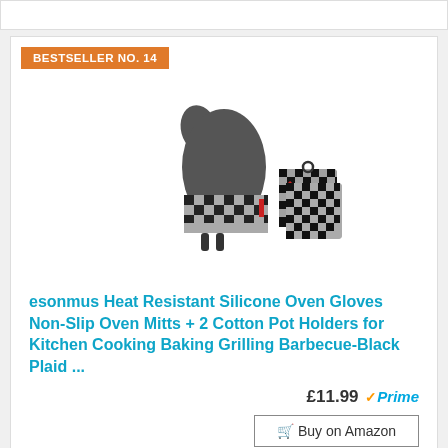BESTSELLER NO. 14
[Figure (photo): Product photo of esonmus oven mitts with black and white checkered pattern and silicone grip, shown with two matching pot holders]
esonmus Heat Resistant Silicone Oven Gloves Non-Slip Oven Mitts + 2 Cotton Pot Holders for Kitchen Cooking Baking Grilling Barbecue-Black Plaid ...
£11.99 Prime
Buy on Amazon